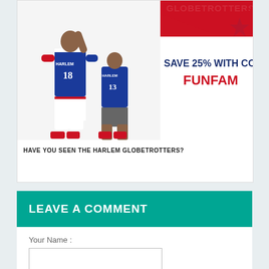[Figure (illustration): Harlem Globetrotters promotional ad showing two players in blue and white uniforms, red star banner at top reading 'GLOBETROTTERS', text 'SAVE 25% WITH CODE: FUNFAM' with FUNFAM in red]
HAVE YOU SEEN THE HARLEM GLOBETROTTERS?
LEAVE A COMMENT
Your Name :
Your Comments :